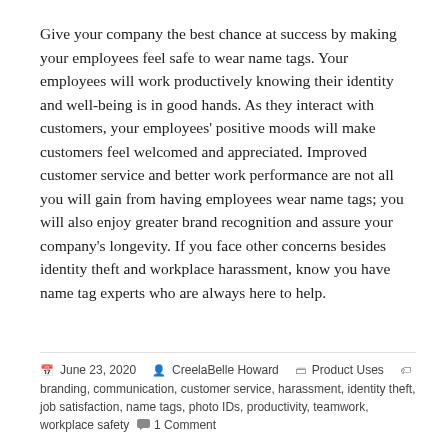Give your company the best chance at success by making your employees feel safe to wear name tags. Your employees will work productively knowing their identity and well-being is in good hands. As they interact with customers, your employees' positive moods will make customers feel welcomed and appreciated. Improved customer service and better work performance are not all you will gain from having employees wear name tags; you will also enjoy greater brand recognition and assure your company's longevity. If you face other concerns besides identity theft and workplace harassment, know you have name tag experts who are always here to help.
June 23, 2020  CreelaBelle Howard  Product Uses  branding, communication, customer service, harassment, identity theft, job satisfaction, name tags, photo IDs, productivity, teamwork, workplace safety  1 Comment